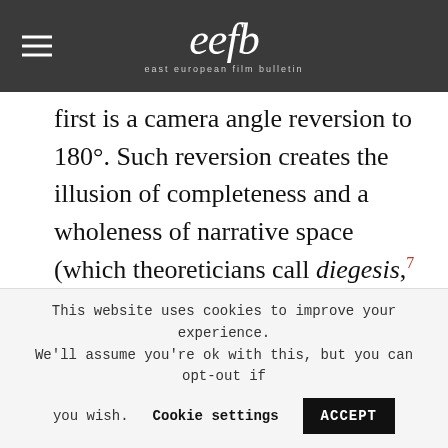[Figure (logo): East European Film Bulletin (eefb) logo with hamburger menu icon on dark grey header background]
first is a camera angle reversion to 180°. Such reversion creates the illusion of completeness and a wholeness of narrative space (which theoreticians call diegesis,⁷ an Aristotelian term), but most importantly, such reversion demonstrates the absence of film
This website uses cookies to improve your experience. We'll assume you're ok with this, but you can opt-out if you wish. Cookie settings ACCEPT